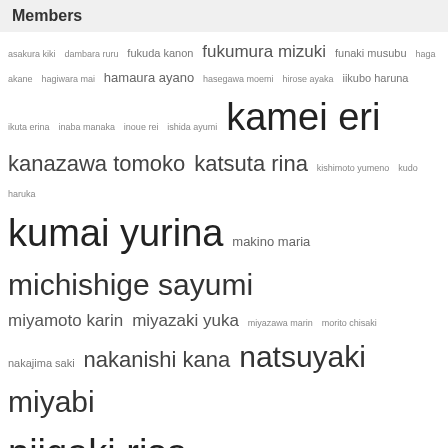Members
asakura kiki dambara ruru fukuda kanon fukumura mizuki funaki musubu haga akane hagiwara mai hamaura ayano hasegawa moemi hirose ayaka iikubo haruna ikuta erina inaba manaka inoue rei ishida ayumi kamei eri kanazawa tomoko katsuta rina kishimoto yumeno kudo haruka kumai yurina makino maria michishige sayumi miyamoto karin miyazaki yuka miyazawa marin morito chisaki nakajima saki nakanishi kana natsuyaki miyabi niigaki risa niinuma kisora nomura minami nonaka miki oda sakura ogata haruna ogata risa ogawa rena okada marina ono mizuho onoda saori ozeki mai sato masaki sayashi riho shimamura uta shimizu saki sudo maasa sugaya risako suzuki airi suzuki kanon taguchi natsumi takagi sayuki takahashi ai takeuchi akari tamura meimi tanaka reina tanimoto ami tasaki asahi tokunaga chinami tsugunaga momoko uemura akari uozumi yuki yajima maimi yamagishi riko yamaki risa yanagawa nanami
Archives
Select Month